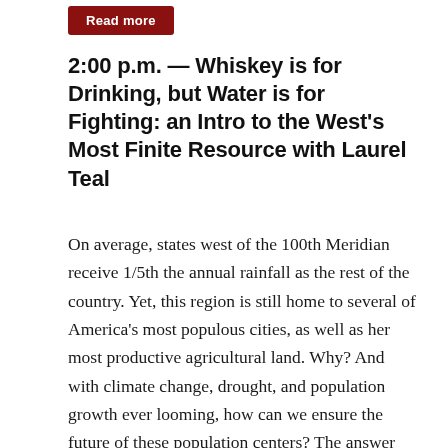Read more
2:00 p.m. — Whiskey is for Drinking, but Water is for Fighting: an Intro to the West's Most Finite Resource with Laurel Teal
On average, states west of the 100th Meridian receive 1/5th the annual rainfall as the rest of the country. Yet, this region is still home to several of America's most populous cities, as well as her most productive agricultural land. Why? And with climate change, drought, and population growth ever looming, how can we ensure the future of these population centers? The answer may be surprising. A historian, policy analyst, and member of Colorado Parks and Wildlife, Laurel Teal walks you through the American West's complicated relationship with water and the Myth of the Frontier. Ultimately, this talk makes it clear why the old phrase, “whiskey is for drinking, but water is for fighting” is still relevant today.